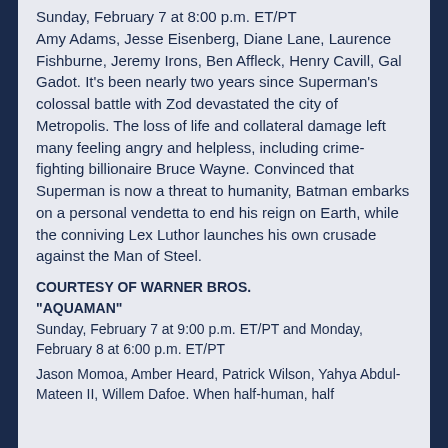Sunday, February 7 at 8:00 p.m. ET/PT Amy Adams, Jesse Eisenberg, Diane Lane, Laurence Fishburne, Jeremy Irons, Ben Affleck, Henry Cavill, Gal Gadot. It's been nearly two years since Superman's colossal battle with Zod devastated the city of Metropolis. The loss of life and collateral damage left many feeling angry and helpless, including crime-fighting billionaire Bruce Wayne. Convinced that Superman is now a threat to humanity, Batman embarks on a personal vendetta to end his reign on Earth, while the conniving Lex Luthor launches his own crusade against the Man of Steel.
COURTESY OF WARNER BROS.
“AQUAMAN”
Sunday, February 7 at 9:00 p.m. ET/PT and Monday, February 8 at 6:00 p.m. ET/PT
Jason Momoa, Amber Heard, Patrick Wilson, Yahya Abdul-Mateen II, Willem Dafoe. When half-human, half